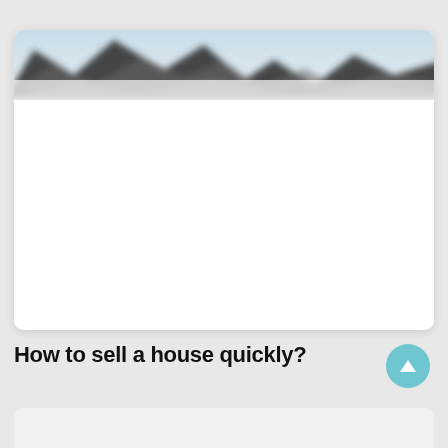[Figure (photo): A blurred landscape/mountain scene photo used as a card header image with dark tones and light blue sky.]
How to sell a house quickly?
[Figure (illustration): A teal/cyan circular scroll-to-top button with an upward arrow icon.]